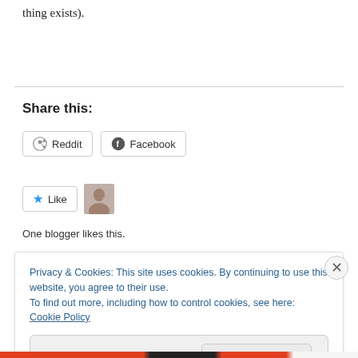thing exists).
Share this:
[Figure (screenshot): Reddit and Facebook share buttons]
[Figure (screenshot): Like button with star icon and user avatar thumbnail]
One blogger likes this.
Privacy & Cookies: This site uses cookies. By continuing to use this website, you agree to their use.
To find out more, including how to control cookies, see here: Cookie Policy